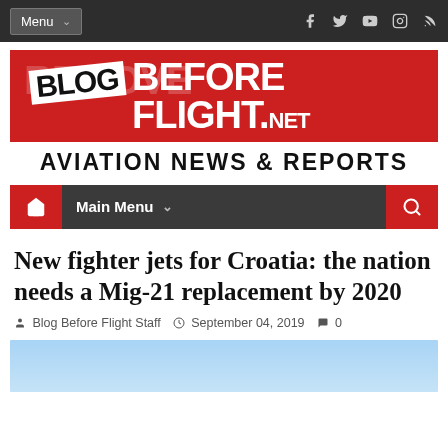Menu | Social icons (Facebook, Twitter, YouTube, Instagram, RSS)
[Figure (logo): Blog Before Flight .net logo on red background with REMOVE BEFORE FLIGHT text styling]
AVIATION NEWS & REPORTS
[Figure (other): Navigation bar with home icon, Main Menu dropdown, and search icon]
New fighter jets for Croatia: the nation needs a Mig-21 replacement by 2020
Blog Before Flight Staff   September 04, 2019   0
[Figure (photo): Blue sky / aircraft image placeholder at bottom of page]